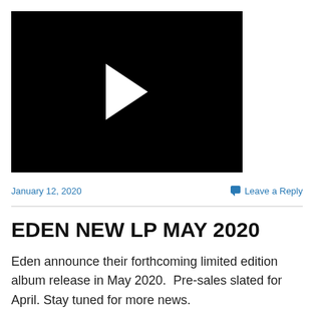[Figure (screenshot): Black video player thumbnail with a white play button triangle in the center]
January 12, 2020
Leave a Reply
EDEN NEW LP MAY 2020
Eden announce their forthcoming limited edition album release in May 2020.  Pre-sales slated for April. Stay tuned for more news.